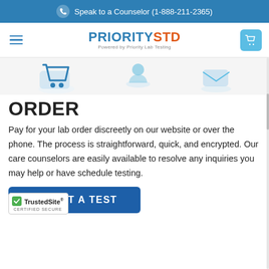Speak to a Counselor (1-888-211-2365)
[Figure (logo): PrioritySTD logo - PRIORITY in blue, STD in orange, Powered by Priority Lab Testing subtitle]
[Figure (illustration): Three step icons: shopping cart, person/profile, and checkmark/envelope icons representing order process steps]
ORDER
Pay for your lab order discreetly on our website or over the phone. The process is straightforward, quick, and encrypted. Our care counselors are easily available to resolve any inquiries you may help or have schedule testing.
[Figure (other): SELECT A TEST blue button]
[Figure (other): TrustedSite Certified Secure badge]